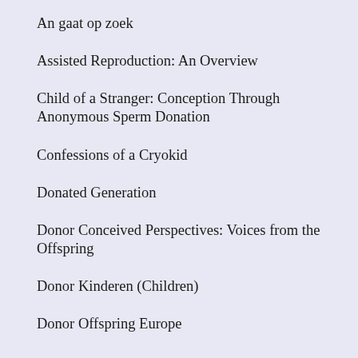An gaat op zoek
Assisted Reproduction: An Overview
Child of a Stranger: Conception Through Anonymous Sperm Donation
Confessions of a Cryokid
Donated Generation
Donor Conceived Perspectives: Voices from the Offspring
Donor Kinderen (Children)
Donor Offspring Europe